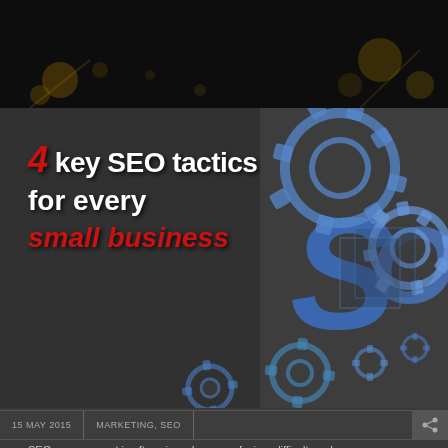[Figure (photo): Dark banner image with bokeh light effects, golden particles on black background]
[Figure (illustration): 3D rendered blue metallic SEO letters and gears/cogs on a dark grey background]
4 key SEO tactics for every small business
15 MAY 2015   MARKETING, SEO
SEO management is often viewed as a confusing, difficult, and